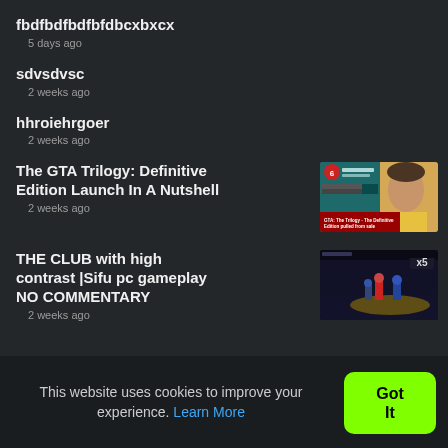fbdfbdfbdfbfdbcxbxcx
5 days ago
sdvsdvsc
2 weeks ago
hhroiehrgoer
2 weeks ago
The GTA Trilogy: Definitive Edition Launch In A Nutshell
2 weeks ago
[Figure (screenshot): Thumbnail for GTA Trilogy Definitive Edition video showing a person and game UI]
THE CLUB with high contrast |Sifu pc gameplay NO COMMENTARY
2 weeks ago
[Figure (screenshot): Thumbnail for Sifu gameplay video showing a character fighting in dark environment]
This website uses cookies to improve your experience. Learn More
Got It